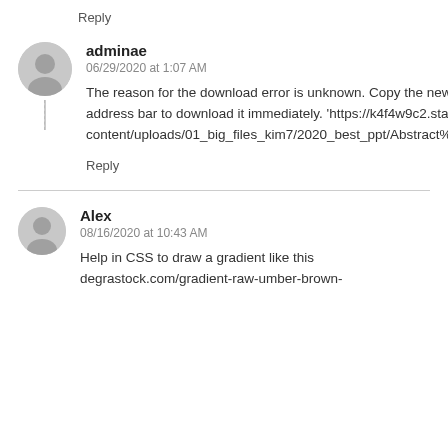Reply
adminae
06/29/2020 at 1:07 AM
The reason for the download error is unknown. Copy the new download address in the comment and enter it in the address bar to download it immediately. 'https://k4f4w9c2.stackpathcdn.com/wp-content/uploads/01_big_files_kim7/2020_best_ppt/Abstract%20Gradients%20Waves%20PowerPoint%20Templates.pptx'
Reply
Alex
08/16/2020 at 10:43 AM
Help in CSS to draw a gradient like this degrastock.com/gradient-raw-umber-brown-